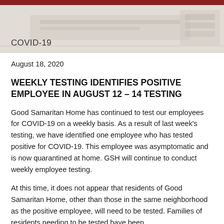COVID-19
August 18, 2020
WEEKLY TESTING IDENTIFIES POSITIVE EMPLOYEE IN AUGUST 12 – 14 TESTING
Good Samaritan Home has continued to test our employees for COVID-19 on a weekly basis. As a result of last week's testing, we have identified one employee who has tested positive for COVID-19. This employee was asymptomatic and is now quarantined at home. GSH will continue to conduct weekly employee testing.
At this time, it does not appear that residents of Good Samaritan Home, other than those in the same neighborhood as the positive employee, will need to be tested. Families of residents needing to be tested have been